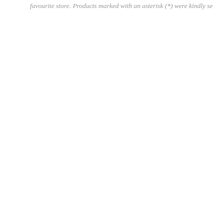favourite store. Products marked with an asterisk (*) were kindly se